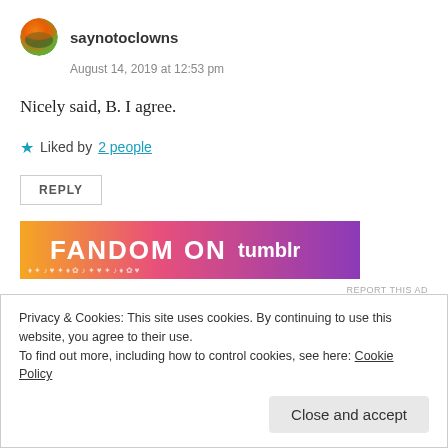[Figure (photo): Round avatar image with orange and red sunset/gradient tones]
saynotoclowns
August 14, 2019 at 12:53 pm
Nicely said, B. I agree.
★ Liked by 2 people
REPLY
[Figure (screenshot): Colorful advertisement banner with orange-to-purple gradient, showing FANDOM ON tumblr text]
REPORT THIS AD
Privacy & Cookies: This site uses cookies. By continuing to use this website, you agree to their use.
To find out more, including how to control cookies, see here: Cookie Policy
Close and accept